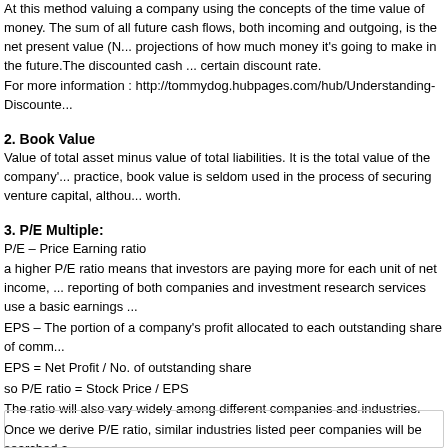At this method valuing a company using the concepts of the time value of money. The sum of all future cash flows, both incoming and outgoing, is the net present value (N... projections of how much money it's going to make in the future. The discounted cash ... certain discount rate.
For more information : http://tommydog.hubpages.com/hub/Understanding-Discounte...
2. Book Value
Value of total asset minus value of total liabilities. It is the total value of the company'... practice, book value is seldom used in the process of securing venture capital, althou... worth.
3. P/E Multiple:
P/E – Price Earning ratio
a higher P/E ratio means that investors are paying more for each unit of net income, ... reporting of both companies and investment research services use a basic earnings ...
EPS – The portion of a company's profit allocated to each outstanding share of comm...
EPS = Net Profit / No. of outstanding share
so P/E ratio = Stock Price / EPS
The ratio will also vary widely among different companies and industries.
Once we derive P/E ratio, similar industries listed peer companies will be searched a...
Courtesy: www.investopedia.com , www.wikipedia.com and http://tommydog.hubpa...
Tags: Book value, Business valuation, DCF, Discounted cash Flow, P/E Multiple, P/R...
Posted in SharesVault Blog, Uncategorized | No Comments »